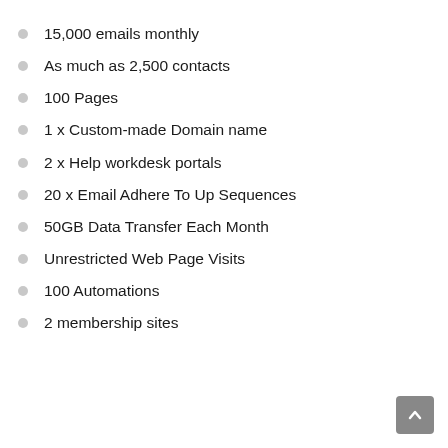15,000 emails monthly
As much as 2,500 contacts
100 Pages
1 x Custom-made Domain name
2 x Help workdesk portals
20 x Email Adhere To Up Sequences
50GB Data Transfer Each Month
Unrestricted Web Page Visits
100 Automations
2 membership sites